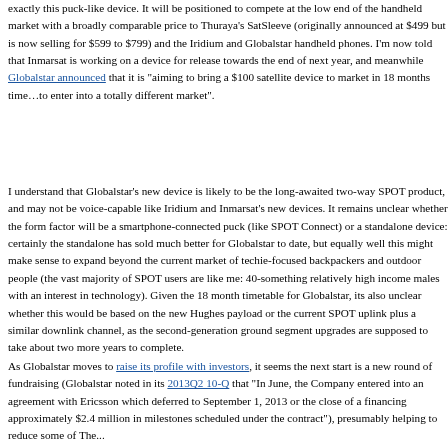exactly this puck-like device. It will be positioned to compete at the low end of the handheld market with a broadly comparable price to Thuraya's SatSleeve (originally announced at $499 but is now selling for $599 to $799) and the Iridium and Globalstar handheld phones. I'm now told that Inmarsat is working on a device for release towards the end of next year, and meanwhile Globalstar announced that it is "aiming to bring a $100 satellite device to market in 18 months time…to enter into a totally different market".
I understand that Globalstar's new device is likely to be the long-awaited two-way SPOT product, and may not be voice-capable like Iridium and Inmarsat's new devices. It remains unclear whether the form factor will be a smartphone-connected puck (like SPOT Connect) or a standalone device: certainly the standalone has sold much better for Globalstar to date, but equally well this might make sense to expand beyond the current market of techie-focused backpackers and outdoors people (the vast majority of SPOT users are like me: 40-something relatively high income males with an interest in technology). Given the 18 month timetable for Globalstar, its also unclear whether this would be based on the new Hughes payload or the current SPOT uplink plus a similar downlink channel, as the second-generation ground segment upgrades are supposed to take about two more years to complete.
As Globalstar moves to raise its profile with investors, it seems the next step is a new round of fundraising (Globalstar noted in its 2013Q2 10-Q that "In June, the Company entered into an agreement with Ericsson which deferred to September 1, 2013 or the close of a financing approximately $2.4 million in milestone payments scheduled under the contract"), presumably helping to reduce some of The...